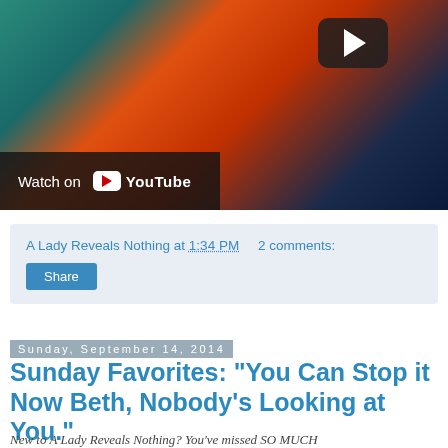[Figure (screenshot): YouTube video thumbnail showing colorful puppet/muppet characters with a play button overlay and 'Watch on YouTube' bar at the bottom left]
A Lady Reveals Nothing at 1:34 PM   2 comments:
Share
Sunday, September 14, 2014
Sunday Favorites: "You Can Stop it Now Beth, Nobody's Looking at You."
New to A Lady Reveals Nothing? You've missed SO MUCH